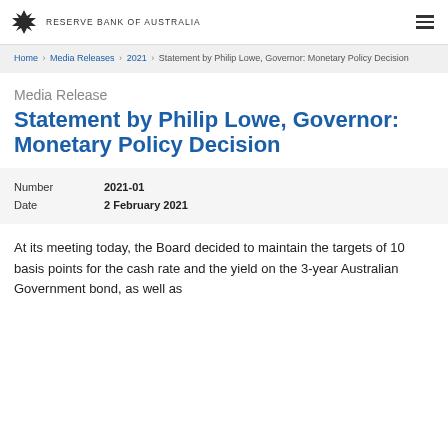RESERVE BANK OF AUSTRALIA
Home › Media Releases › 2021 › Statement by Philip Lowe, Governor: Monetary Policy Decision
Media Release
Statement by Philip Lowe, Governor: Monetary Policy Decision
| Field | Value |
| --- | --- |
| Number | 2021-01 |
| Date | 2 February 2021 |
At its meeting today, the Board decided to maintain the targets of 10 basis points for the cash rate and the yield on the 3-year Australian Government bond, as well as